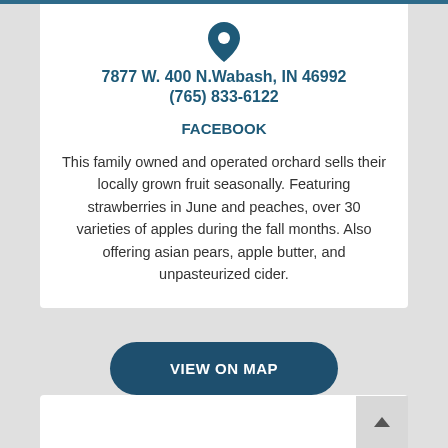7877 W. 400 N.Wabash, IN 46992
(765) 833-6122
FACEBOOK
This family owned and operated orchard sells their locally grown fruit seasonally. Featuring strawberries in June and peaches, over 30 varieties of apples during the fall months. Also offering asian pears, apple butter, and unpasteurized cider.
VIEW ON MAP
[Figure (other): White card area below with a scroll-to-top button in the bottom right corner]